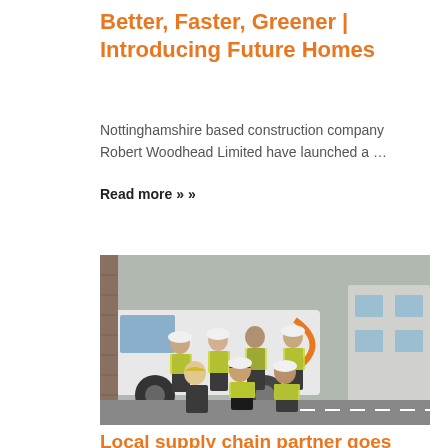Better, Faster, Greener | Introducing Future Homes
Nottinghamshire based construction company Robert Woodhead Limited have launched a …
Read more »
[Figure (photo): Group photo of seven construction workers in high-visibility vests and hard hats standing in front of a white company van with an orange logo]
Local supply chain partner goes from strength to strength